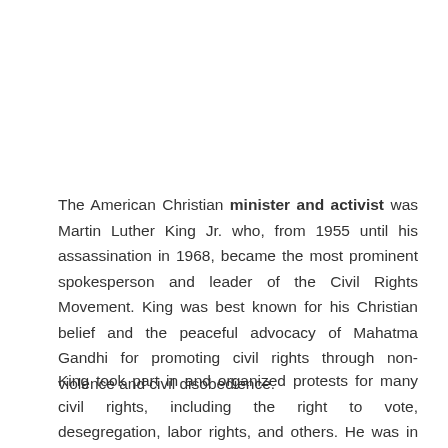The American Christian minister and activist was Martin Luther King Jr. who, from 1955 until his assassination in 1968, became the most prominent spokesperson and leader of the Civil Rights Movement. King was best known for his Christian belief and the peaceful advocacy of Mahatma Gandhi for promoting civil rights through non-violence and civil disobedience.
King took part in and organized protests for many civil rights, including the right to vote, desegregation, labor rights, and others. He was in charge of the 1955